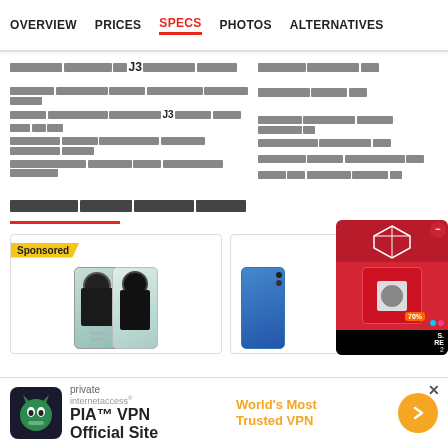OVERVIEW | PRICES | SPECS | PHOTOS | ALTERNATIVES
[Redacted title with J3]
[Redacted body text with J3 mention]
[Redacted section heading]
[Figure (screenshot): Sponsored product cards showing smartphones and a popup ad showing 70% off deal]
[Figure (screenshot): PIA VPN banner advertisement - World's Most Trusted VPN]